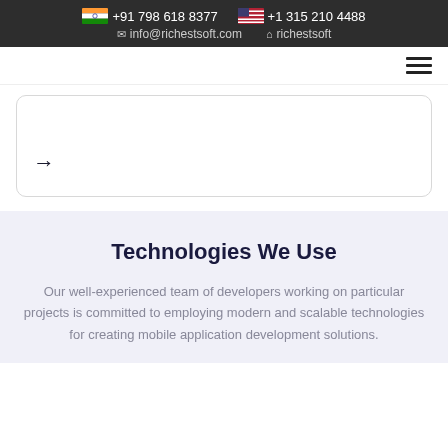🇮🇳 +91 798 618 8377  🇺🇸 +1 315 210 4488  ✉ info@richestsoft.com  ⌂ richestsoft
[Figure (other): Navigation bar with hamburger menu icon (three horizontal lines) on the right side]
[Figure (other): Card with right arrow (→) icon at bottom left, rounded border]
Technologies We Use
Our well-experienced team of developers working on particular projects is committed to employing modern and scalable technologies for creating mobile application development solutions.